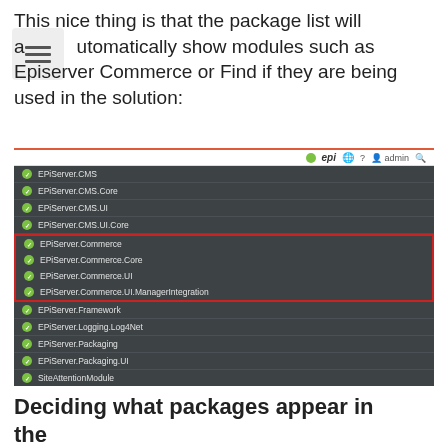This nice thing is that the package list will automatically show modules such as Episerver Commerce or Find if they are being used in the solution:
[Figure (screenshot): Screenshot of Episerver admin panel showing a package list including EPiServer.CMS, EPiServer.CMS.Core, EPiServer.CMS.UI, EPiServer.CMS.UI.Core, EPiServer.Commerce, EPiServer.Commerce.Core, EPiServer.Commerce.UI, EPiServer.Commerce.UI.ManagerIntegration (highlighted in red box), EPiServer.Framework, EPiServer.Logging.Log4Net, EPiServer.Packaging, EPiServer.Packaging.UI, SiteAttentionModule. All items show green checkmarks.]
Deciding what packages appear in the